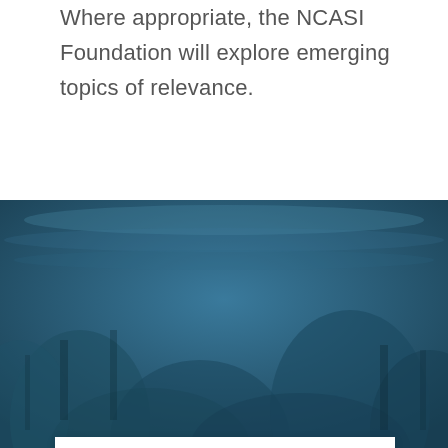Where appropriate, the NCASI Foundation will explore emerging topics of relevance.
[Figure (photo): Aerial forest/water background in dark teal and blue tones, with a white card overlaid in the lower portion]
Our History
NCASI was established in 1943 by a consortium of pulp and paper companies committed to lowering the ecological impact of pulping and papermaking operations. In the first decades of